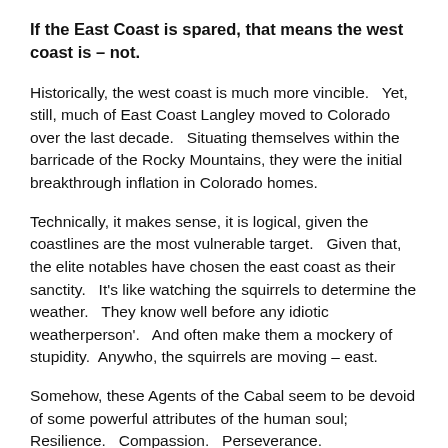If the East Coast is spared, that means the west coast is – not.
Historically, the west coast is much more vincible.   Yet, still, much of East Coast Langley moved to Colorado over the last decade.   Situating themselves within the barricade of the Rocky Mountains, they were the initial breakthrough inflation in Colorado homes.
Technically, it makes sense, it is logical, given the coastlines are the most vulnerable target.   Given that, the elite notables have chosen the east coast as their sanctity.   It's like watching the squirrels to determine the weather.   They know well before any idiotic weatherperson'.   And often make them a mockery of stupidity.  Anywho, the squirrels are moving – east.
Somehow, these Agents of the Cabal seem to be devoid of some powerful attributes of the human soul; Resilience.   Compassion.   Perseverance.   Steadfastness.      Heart.